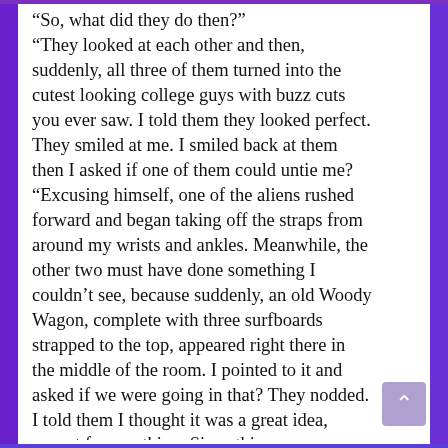“So, what did they do then?” “They looked at each other and then, suddenly, all three of them turned into the cutest looking college guys with buzz cuts you ever saw. I told them they looked perfect. They smiled at me. I smiled back at them then I asked if one of them could untie me? “Excusing himself, one of the aliens rushed forward and began taking off the straps from around my wrists and ankles. Meanwhile, the other two must have done something I couldn’t see, because suddenly, an old Woody Wagon, complete with three surfboards strapped to the top, appeared right there in the middle of the room. I pointed to it and asked if we were going in that? They nodded. I told them I thought it was a great idea, except for one thing. Since this was Wisconsin, I didn’t think there would be any surf or surfboards around. “They just shrugged. Then I asked if any of them knew where The Pizza Freeze was? When all three of them refused to look at me, I asked for the keys to the